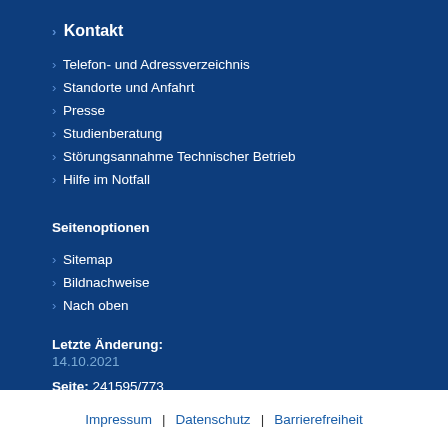› Kontakt
› Telefon- und Adressverzeichnis
› Standorte und Anfahrt
› Presse
› Studienberatung
› Störungsannahme Technischer Betrieb
› Hilfe im Notfall
Seitenoptionen
› Sitemap
› Bildnachweise
› Nach oben
Letzte Änderung:
14.10.2021
Seite: 241595/773
Impressum | Datenschutz | Barrierefreiheit